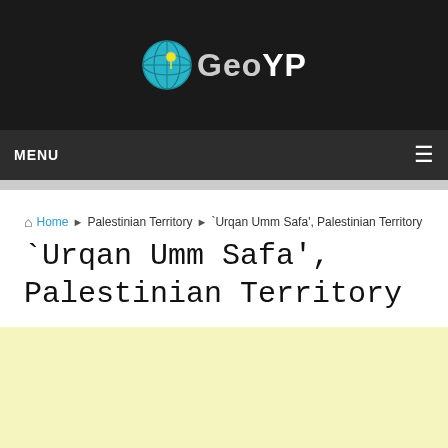GeoYP
MENU
Home ▶ Palestinian Territory ▶ `Urqan Umm Safa', Palestinian Territory
`Urqan Umm Safa', Palestinian Territory
[Figure (other): Yellow advertisement area placeholder]